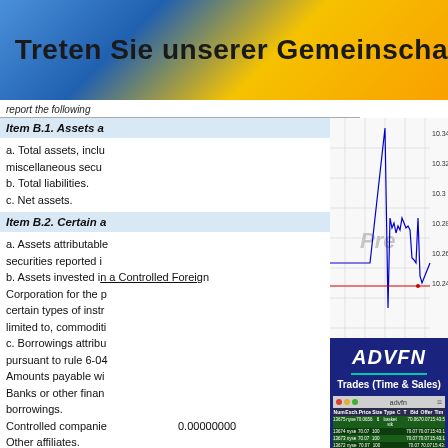Treten Sie unserer Gemeinscha
report the following
Item B.1. Assets a
a. Total assets, inclu
miscellaneous secu
b. Total liabilities.
c. Net assets.
Item B.2. Certain a
a. Assets attributable
securities reported i
b. Assets invested in a Controlled Foreign
Corporation for the p
certain types of instr
limited to, commoditi
c. Borrowings attribu
pursuant to rule 6-04
Amounts payable wi
Banks or other finan
borrowings.
Controlled companie
Other affiliates.
Others.
[Figure (continuous-plot): Stock price chart showing price range approximately 10.24 to 10.34, x-axis from 1100 to 2100, with blue price line and red horizontal line, watermark 'Pre', source (c) www.advfn.com]
0.00000000
[Figure (screenshot): ADVFN Trades (Time & Sales) screen with dark blue background, logo ADVFN in white bold italic, green separator line, subtitle 'Trades (Time & Sales)' in white, and a trades table showing columns Num, Exch., Price, Size, Type, C, T, Bid, Offer, Time with rows for trades 13675, 13674, 13673, 13672 on nyse]
(c) www.advfn.com